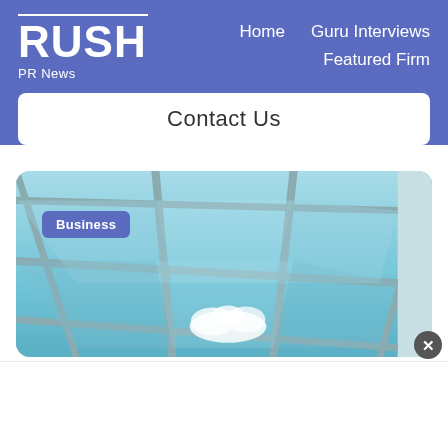RUSH PR News — Home | Guru Interviews | Featured Firm | Contact Us
[Figure (photo): View looking up through a glass ceiling/skylight with blue sky and a cloud visible through glass panels and metal framing. A 'Business' category badge is overlaid on the upper left of the image.]
Business